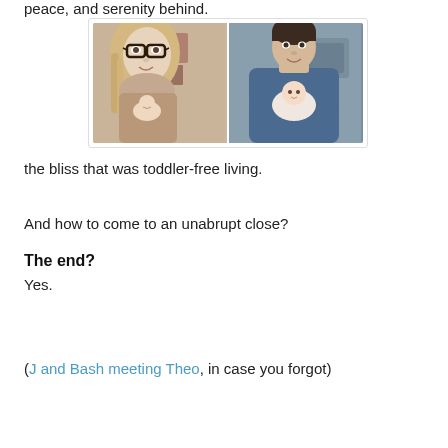peace, and serenity behind.
[Figure (photo): Two side-by-side photos: left shows a woman with glasses and long blonde hair holding a newborn baby; right shows a man in a blue sweater holding a newborn baby.]
the bliss that was toddler-free living.
And how to come to an unabrupt close?
The end?
Yes.
(J and Bash meeting Theo, in case you forgot)